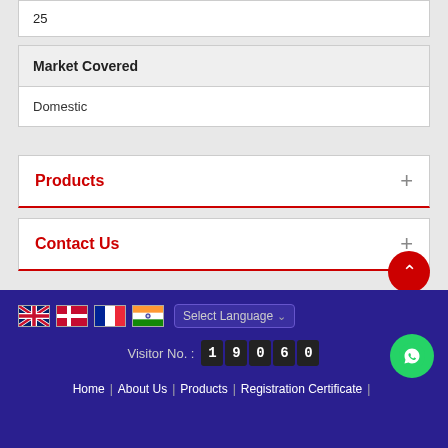25
| Market Covered |
| --- |
| Domestic |
Products
Contact Us
Visitor No. : 19060 | Home | About Us | Products | Registration Certificate |